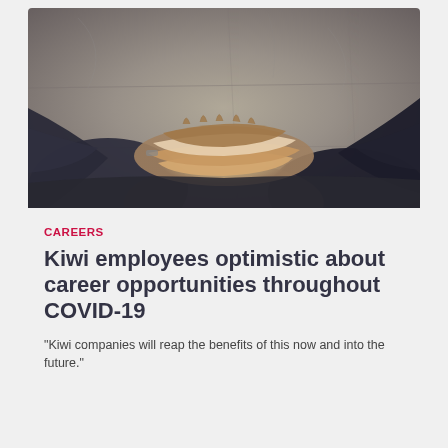[Figure (photo): Overhead view of multiple people's hands stacked together in a team huddle gesture, photographed from above against a concrete floor background.]
CAREERS
Kiwi employees optimistic about career opportunities throughout COVID-19
"Kiwi companies will reap the benefits of this now and into the future."